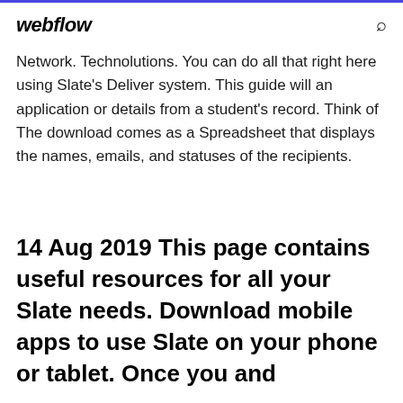webflow
Network. Technolutions. You can do all that right here using Slate's Deliver system. This guide will an application or details from a student's record. Think of The download comes as a Spreadsheet that displays the names, emails, and statuses of the recipients.
14 Aug 2019 This page contains useful resources for all your Slate needs. Download mobile apps to use Slate on your phone or tablet. Once you and